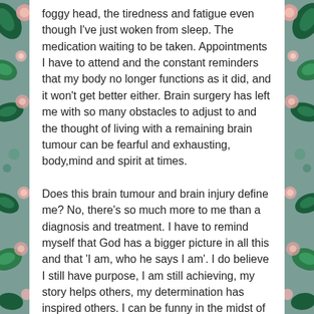foggy head, the tiredness and fatigue even though I've just woken from sleep. The medication waiting to be taken. Appointments I have to attend and the constant reminders that my body no longer functions as it did, and it won't get better either. Brain surgery has left me with so many obstacles to adjust to and the thought of living with a remaining brain tumour can be fearful and exhausting, body,mind and spirit at times.
Does this brain tumour and brain injury define me? No, there's so much more to me than a diagnosis and treatment. I have to remind myself that God has a bigger picture in all this and that 'I am, who he says I am'. I do believe I still have purpose, I am still achieving, my story helps others, my determination has inspired others. I can be funny in the midst of this fear. I can still live and have found new activities